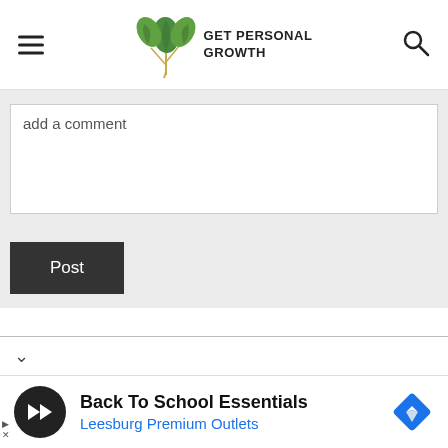GET PERSONAL GROWTH
add a comment
Post
[Figure (screenshot): Accordion/dropdown chevron bar]
[Figure (infographic): Ad banner: Back To School Essentials - Leesburg Premium Outlets with circular black logo and navigation icon]